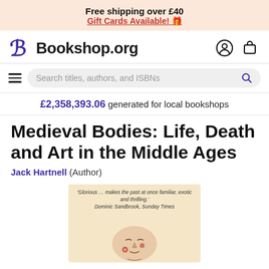Free shipping over £40
Gift Cards Available! 🎁
[Figure (logo): Bookshop.org logo with stylized B and wordmark, plus account and cart icons]
Search titles, authors, and ISBNs
£2,358,393.06 generated for local bookshops
Medieval Bodies: Life, Death and Art in the Middle Ages
Jack Hartnell (Author)
[Figure (photo): Book cover of Medieval Bodies showing a sculpted face with decorative floral elements on a cream background, with a quote: 'Glorious … makes the past at once familiar, exotic and thrilling.' Dominic Sandbrook, Sunday Times]